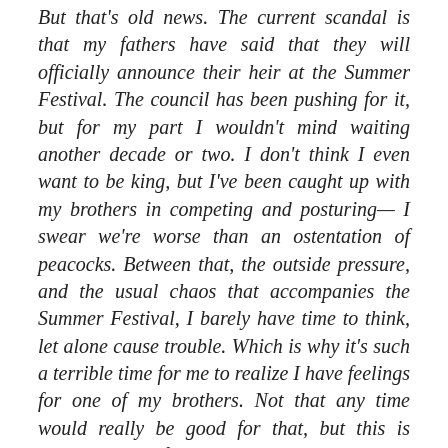But that's old news. The current scandal is that my fathers have said that they will officially announce their heir at the Summer Festival. The council has been pushing for it, but for my part I wouldn't mind waiting another decade or two. I don't think I even want to be king, but I've been caught up with my brothers in competing and posturing— I swear we're worse than an ostentation of peacocks. Between that, the outside pressure, and the usual chaos that accompanies the Summer Festival, I barely have time to think, let alone cause trouble. Which is why it's such a terrible time for me to realize I have feelings for one of my brothers. Not that any time would really be good for that, but this is particularly awful.
So basically, my life's a mess, and I really need